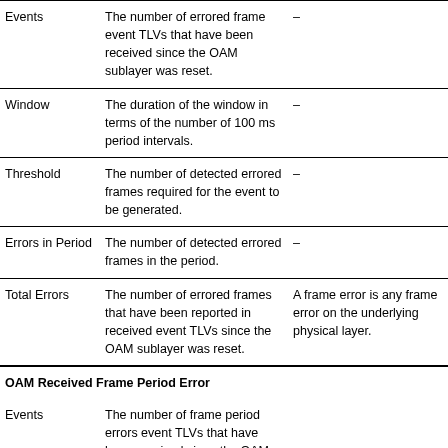|  | Description | Notes |
| --- | --- | --- |
| Events | The number of errored frame event TLVs that have been received since the OAM sublayer was reset. | – |
| Window | The duration of the window in terms of the number of 100 ms period intervals. | – |
| Threshold | The number of detected errored frames required for the event to be generated. | – |
| Errors in Period | The number of detected errored frames in the period. | – |
| Total Errors | The number of errored frames that have been reported in received event TLVs since the OAM sublayer was reset. | A frame error is any frame error on the underlying physical layer. |
OAM Received Frame Period Error
|  | Description | Notes |
| --- | --- | --- |
| Events | The number of frame period errors event TLVs that have been received since the OAM sublayer was reset. |  |